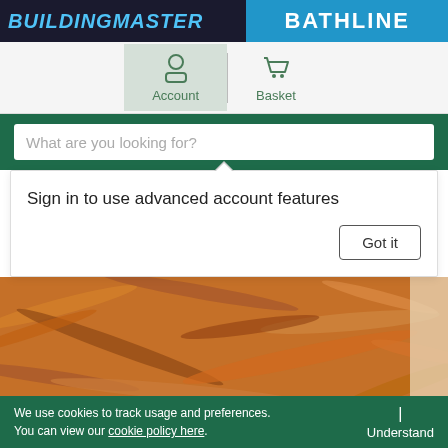BATHLINE
Account
Basket
What are you looking for?
Sign in to use advanced account features
Got it
[Figure (photo): Close-up of oriented strand board (OSB) wood panel showing compressed wood strands and chips]
We use cookies to track usage and preferences. You can view our cookie policy here. | Understand